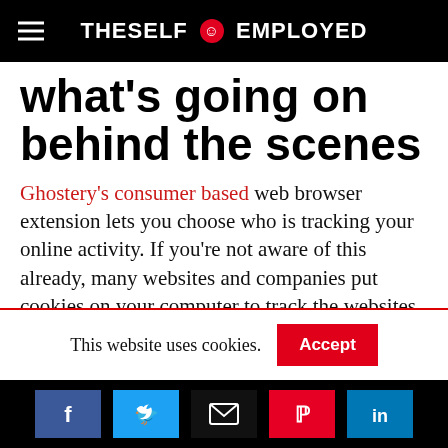THESELF EMPLOYED
what's going on behind the scenes
Ghostery's consumer based web browser extension lets you choose who is tracking your online activity. If you're not aware of this already, many websites and companies put cookies on your computer to track the websites you visit. Ghostery gives you the opportunity to choose who tracks you. If you prefer that no one does, you can do that
This website uses cookies. Accept
[Figure (other): Social share buttons: Facebook, Twitter, Email, Pinterest, LinkedIn]